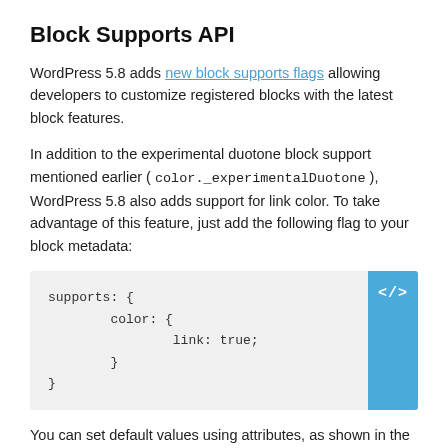Block Supports API
WordPress 5.8 adds new block supports flags allowing developers to customize registered blocks with the latest block features.
In addition to the experimental duotone block support mentioned earlier ( color._experimentalDuotone ), WordPress 5.8 also adds support for link color. To take advantage of this feature, just add the following flag to your block metadata:
supports: {
        color: {
                link: true;
        }
}
You can set default values using attributes, as shown in the following example, or set your presets in theme.json